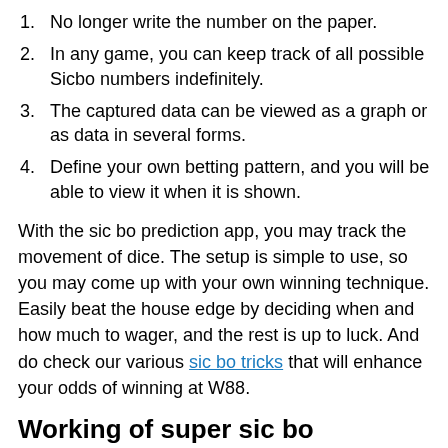No longer write the number on the paper.
In any game, you can keep track of all possible Sicbo numbers indefinitely.
The captured data can be viewed as a graph or as data in several forms.
Define your own betting pattern, and you will be able to view it when it is shown.
With the sic bo prediction app, you may track the movement of dice. The setup is simple to use, so you may come up with your own winning technique. Easily beat the house edge by deciding when and how much to wager, and the rest is up to luck. And do check our various sic bo tricks that will enhance your odds of winning at W88.
Working of super sic bo prediction software
To win in Sic Bo, professionals know that you need a mix of an